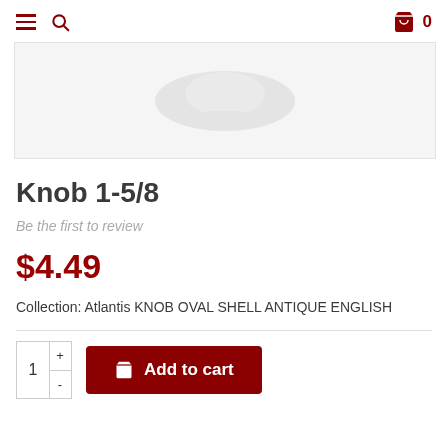Navigation header with hamburger menu, search icon, cart icon and 0
[Figure (photo): Product image placeholder showing a faint knob silhouette on light gray background]
Knob 1-5/8
Be the first to review
$4.49
Collection: Atlantis KNOB OVAL SHELL ANTIQUE ENGLISH